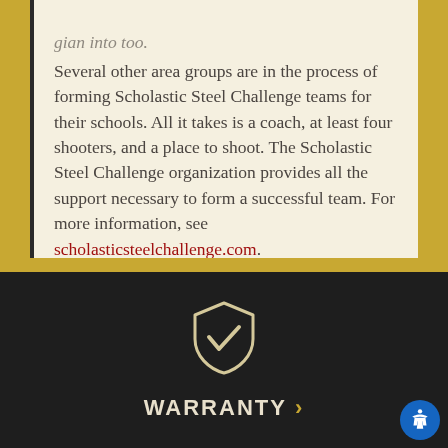Several other area groups are in the process of forming Scholastic Steel Challenge teams for their schools. All it takes is a coach, at least four shooters, and a place to shoot. The Scholastic Steel Challenge organization provides all the support necessary to form a successful team. For more information, see scholasticsteelchallenge.com.
[Figure (illustration): Shield icon with a checkmark inside, white outline on dark background]
WARRANTY >